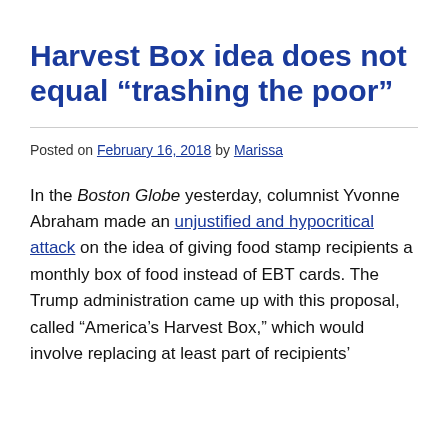Harvest Box idea does not equal “trashing the poor”
Posted on February 16, 2018 by Marissa
In the Boston Globe yesterday, columnist Yvonne Abraham made an unjustified and hypocritical attack on the idea of giving food stamp recipients a monthly box of food instead of EBT cards. The Trump administration came up with this proposal, called “America’s Harvest Box,” which would involve replacing at least part of recipients’